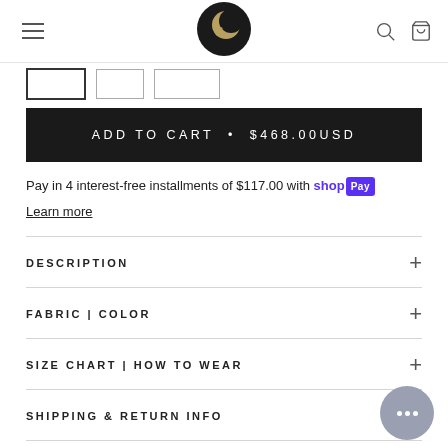erikaprens [logo]
[Figure (logo): Circular black and gold logo with letter e and crescent shape]
Size selector buttons (3 buttons)
ADD TO CART • $468.00USD
Pay in 4 interest-free installments of $117.00 with shop Pay
Learn more
DESCRIPTION
FABRIC | COLOR
SIZE CHART | HOW TO WEAR
SHIPPING & RETURN INFO
REVIEWS (2)